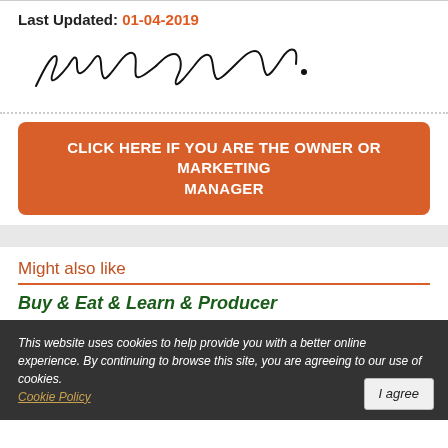Last Updated: 01-04-2019
[Figure (illustration): Handwritten cursive signature reading 'Genquis Campbell.']
CLICK HERE IF YOU ARE THE OWNER OR MARKETING MANAGER
Might also like
Buy & Eat & Learn & Producer
This website uses cookies to help provide you with a better online experience. By continuing to browse this site, you are agreeing to our use of cookies. Cookie Policy